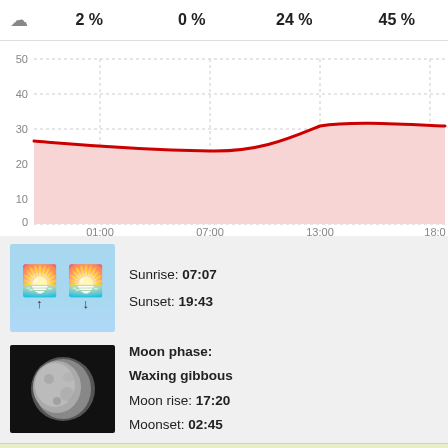|  | 01:00 | 07:00 | 13:00 | 18:00 |
| --- | --- | --- | --- | --- |
| ☁ | 2 % | 0 % | 24 % | 45 % |
[Figure (area-chart): Temperature over time]
[Figure (infographic): Sunrise and sunset times with sun icon image: Sunrise 07:07, Sunset 19:43]
Sunrise: 07:07
Sunset: 19:43
[Figure (photo): Moon phase photo showing waxing gibbous moon]
Moon phase: Waxing gibbous
Moon rise: 17:20
Moonset: 02:45
Local weather forecast Jones Prairie